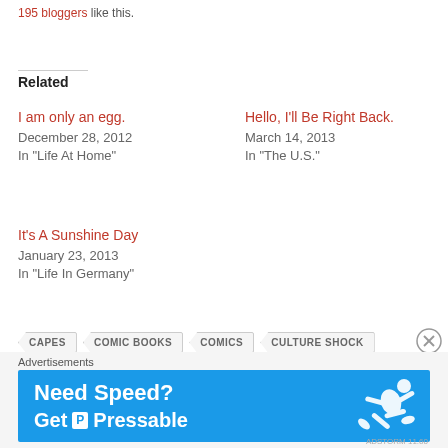195 bloggers like this.
Related
I am only an egg.
December 28, 2012
In "Life At Home"
Hello, I'll Be Right Back.
March 14, 2013
In "The U.S."
It's A Sunshine Day
January 23, 2013
In "Life In Germany"
CAPES
COMIC BOOKS
COMICS
CULTURE SHOCK
EXPATRIATES
FANTASY
FISH OUT OF WATER
Advertisements
[Figure (infographic): Pressable advertisement banner: 'Need Speed? Get P Pressable' with a figure of a person flying, on blue background]